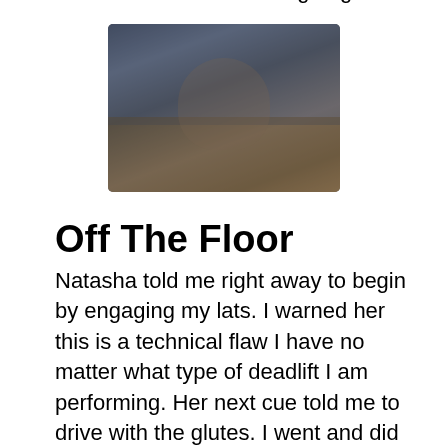right where the knurling starts to change. I went with my feet slightly outside the lines and gripped right around where the knurling began.
[Figure (photo): Blurred photo of a person deadlifting in a gym, centered on the page.]
Off The Floor
Natasha told me right away to begin by engaging my lats. I warned her this is a technical flaw I have no matter what type of deadlift I am performing. Her next cue told me to drive with the glutes. I went and did three dead stop pulls at 315 lbs. Natasha said it didn't look bad.